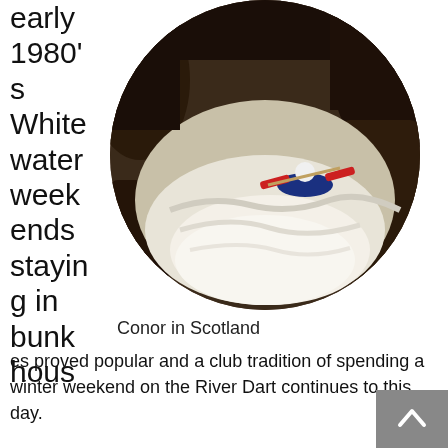early 1980's White water weekends staying in bunkhouses proved popular and a club tradition of spending a winter weekend on the River Dart continues to this day.
[Figure (photo): Circular photo of a kayaker paddling through white water rapids in Scotland, surrounded by dark rocks.]
Conor in Scotland
A visit to the world slalom championships in France in 1969 and paddling on local rivers afterwards began the tradition of foreign trips. Club members attended a very enjoyable white-water festival at Sort in the Spanish Pyrenees in 1993. A small group then paddled